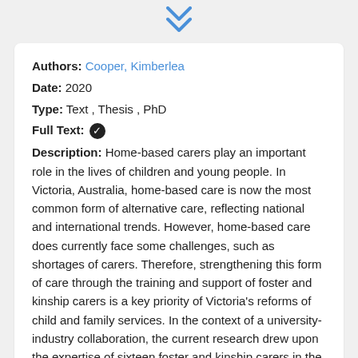[Figure (other): Double chevron down arrow icon in blue at the top center of the page]
Authors: Cooper, Kimberlea
Date: 2020
Type: Text , Thesis , PhD
Full Text: ✓
Description: Home-based carers play an important role in the lives of children and young people. In Victoria, Australia, home-based care is now the most common form of alternative care, reflecting national and international trends. However, home-based care does currently face some challenges, such as shortages of carers. Therefore, strengthening this form of care through the training and support of foster and kinship carers is a key priority of Victoria's reforms of child and family services. In the context of a university-industry collaboration, the current research drew upon the expertise of sixteen foster and kinship carers in the Central Highlands region of Victoria. Using constructivist grounded theory, the research sought to understand how carers support children...